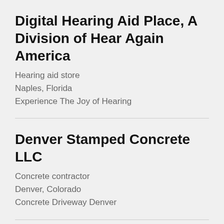Digital Hearing Aid Place, A Division of Hear Again America
Hearing aid store
Naples, Florida
Experience The Joy of Hearing
Denver Stamped Concrete LLC
Concrete contractor
Denver, Colorado
Concrete Driveway Denver
L'italien
Pizza restaurant